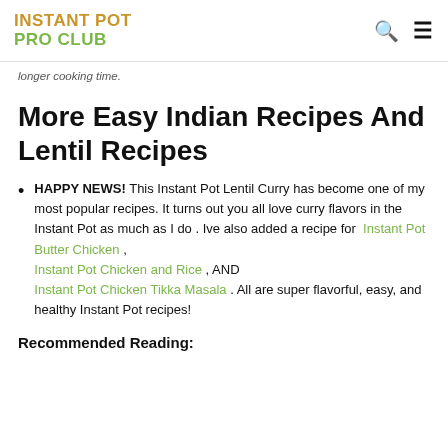INSTANT POT PRO CLUB
longer cooking time.
More Easy Indian Recipes And Lentil Recipes
HAPPY NEWS! This Instant Pot Lentil Curry has become one of my most popular recipes. It turns out you all love curry flavors in the Instant Pot as much as I do . Ive also added a recipe for Instant Pot Butter Chicken , Instant Pot Chicken and Rice , AND Instant Pot Chicken Tikka Masala . All are super flavorful, easy, and healthy Instant Pot recipes!
Recommended Reading: